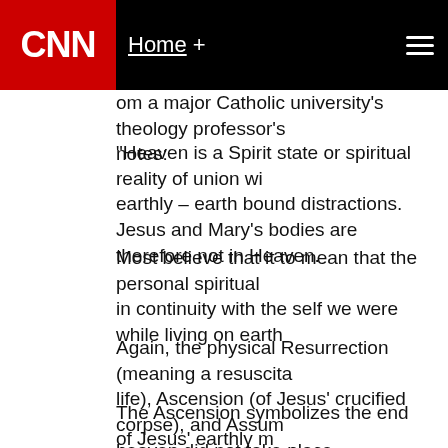CNN Home +
om a major Catholic university's theology professor's notes:
"Heaven is a Spirit state or spiritual reality of union with earthly – earth bound distractions.
Jesus and Mary's bodies are therefore not in Heaven.
Most believe that it to mean that the personal spiritual in continuity with the self we were while living on earth
Again, the physical Resurrection (meaning a resuscita life), Ascension (of Jesus' crucified corpse), and Assum heaven did not take place.
The Ascension symbolizes the end of Jesus' earthly m of the Church.
Only Luke's Gospel records it. The Assumption ties Je and missionary activity of Jesus' followers The Assum symbolism, some are related to Mary's special role as (theotokos). It does not seem fitting that Mary, the bo